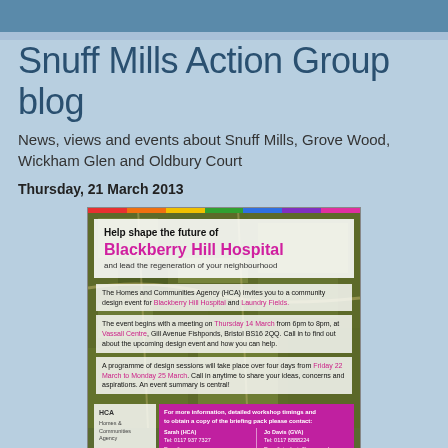Snuff Mills Action Group blog
News, views and events about Snuff Mills, Grove Wood, Wickham Glen and Oldbury Court
Thursday, 21 March 2013
[Figure (infographic): Flyer for 'Help shape the future of Blackberry Hill Hospital and lead the regeneration of your neighbourhood' community design event by the Homes and Communities Agency (HCA), with details about meetings on Thursday 14 March and design sessions Friday 22 March to Monday 25 March at Vassall Centre, Gill Avenue Fishponds, Bristol BS16 2QQ. Contact details for Sarah (HCA) and Jo Davis (GVA).]